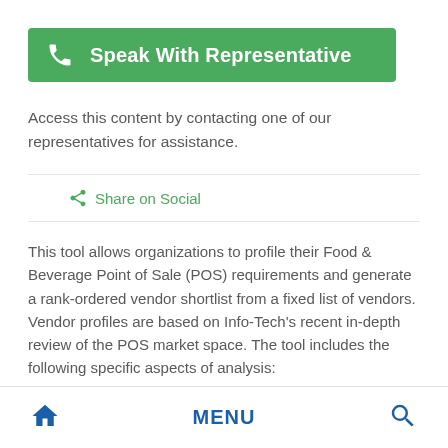[Figure (infographic): Green banner button with phone icon and text 'Speak With Representative']
Access this content by contacting one of our representatives for assistance.
Share on Social
This tool allows organizations to profile their Food & Beverage Point of Sale (POS) requirements and generate a rank-ordered vendor shortlist from a fixed list of vendors. Vendor profiles are based on Info-Tech's recent in-depth review of the POS market space. The tool includes the following specific aspects of analysis:
Home   MENU   Search